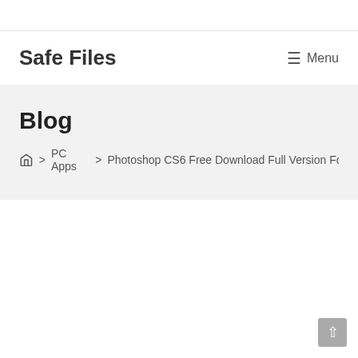Safe Files
Blog
Home > PC Apps > Photoshop CS6 Free Download Full Version For Win